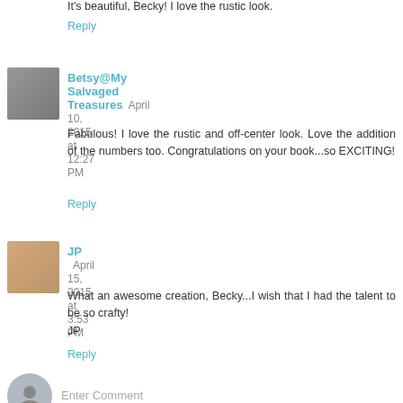It's beautiful, Becky! I love the rustic look.
Reply
Betsy@My Salvaged Treasures  April 10, 2015 at 12:27 PM
Fabulous! I love the rustic and off-center look. Love the addition of the numbers too. Congratulations on your book...so EXCITING!
Reply
JP  April 15, 2015 at 3:53 PM
What an awesome creation, Becky...I wish that I had the talent to be so crafty!
JP
Reply
Enter Comment